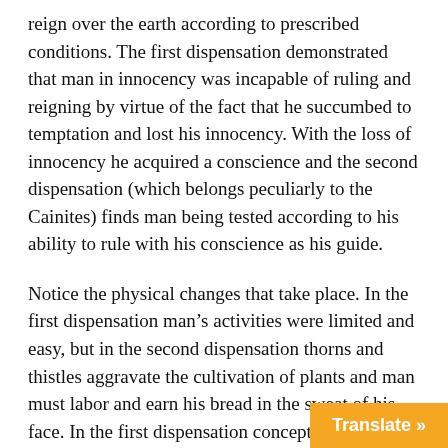reign over the earth according to prescribed conditions. The first dispensation demonstrated that man in innocency was incapable of ruling and reigning by virtue of the fact that he succumbed to temptation and lost his innocency. With the loss of innocency he acquired a conscience and the second dispensation (which belongs peculiarly to the Cainites) finds man being tested according to his ability to rule with his conscience as his guide.
Notice the physical changes that take place. In the first dispensation man's activities were limited and easy, but in the second dispensation thorns and thistles aggravate the cultivation of plants and man must labor and earn his bread in the sweat of his face. In the first dispensation conception and childbirth were accompanied with little or no pain. In the second dispensation woman suffers severely amid these experiences. In the first dispensation man has easy and unbroken fellowship with God, but in the second, he has fellowship with God only on the basis of shed blood. Man's innocency is gone and in its stead he has a conscience. The difficulty in being guided